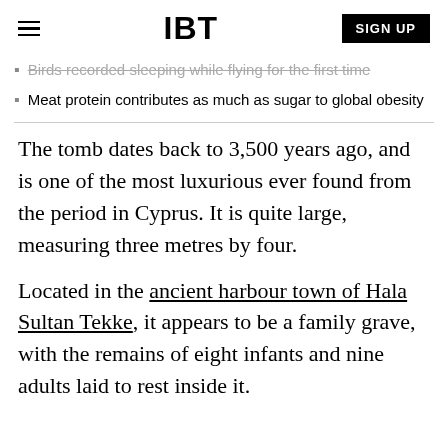IBT | SIGN UP
Birds recorded sleeping while flying for the first time
Meat protein contributes as much as sugar to global obesity
The tomb dates back to 3,500 years ago, and is one of the most luxurious ever found from the period in Cyprus. It is quite large, measuring three metres by four.
Located in the ancient harbour town of Hala Sultan Tekke, it appears to be a family grave, with the remains of eight infants and nine adults laid to rest inside it.